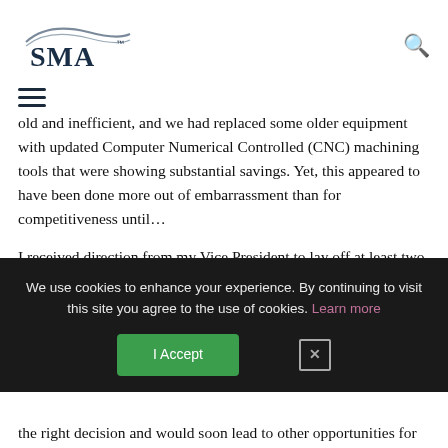[Figure (logo): SMA logo with stylized swoosh above text]
[Figure (other): Hamburger menu icon (three horizontal lines)]
old and inefficient, and we had replaced some older equipment with updated Computer Numerical Controlled (CNC) machining tools that were showing substantial savings. Yet, this appeared to have been done more out of embarrassment than for competitiveness until…
I received direction from my Vice President to lay off at least two of my eight machine shop form-modelers, with justification, for the hydroforming press around which our facility had been built. This direction would soon be reinforced by an opportunity to bid
We use cookies to enhance your experience. By continuing to visit this site you agree to the use of cookies. Learn more
the right decision and would soon lead to other opportunities for